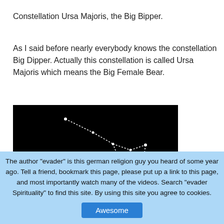Constellation Ursa Majoris, the Big Bipper.
As I said before nearly everybody knows the constellation Big Dipper. Actually this constellation is called Ursa Majoris which means the Big Female Bear.
[Figure (illustration): Black background image showing the Big Dipper constellation drawn with dotted white lines connecting stars]
The author "evader" is this german religion guy you heard of some years ago. Tell a friend, bookmark this page, please put up a link to this page, and most importantly watch many of the videos. Search "evader Spirituality" to find this site. By using this site you agree to cookies.